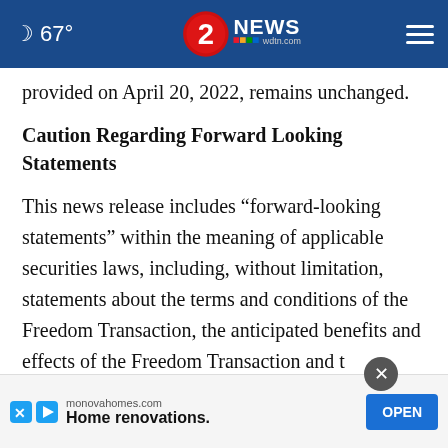67° | 2 NEWS wdtn.com
provided on April 20, 2022, remains unchanged.
Caution Regarding Forward Looking Statements
This news release includes “forward-looking statements” within the meaning of applicable securities laws, including, without limitation, statements about the terms and conditions of the Freedom Transaction, the anticipated benefits and effects of the Freedom Transaction and t…
[Figure (other): Advertisement banner: monovahomes.com - Home renovations. with OPEN button]